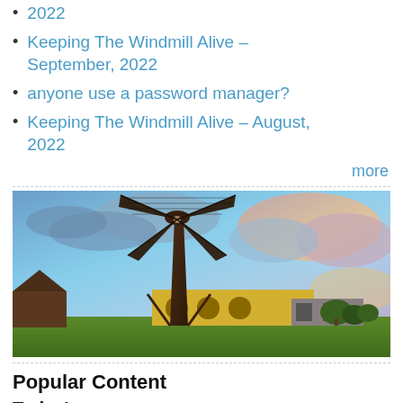2022
Keeping The Windmill Alive – September, 2022
anyone use a password manager?
Keeping The Windmill Alive – August, 2022
more
[Figure (photo): Photograph of a Dutch windmill against a dramatic cloudy sky at dusk, with a yellow building behind the windmill and green grass in the foreground.]
Popular Content
Today's:
POI Files for United States & Elsewhere